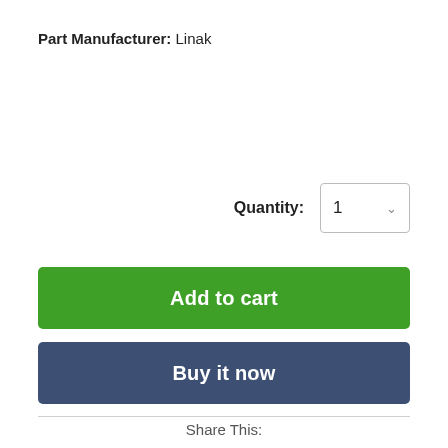Part Manufacturer: Linak
Quantity: 1
Add to cart
Buy it now
Share This: